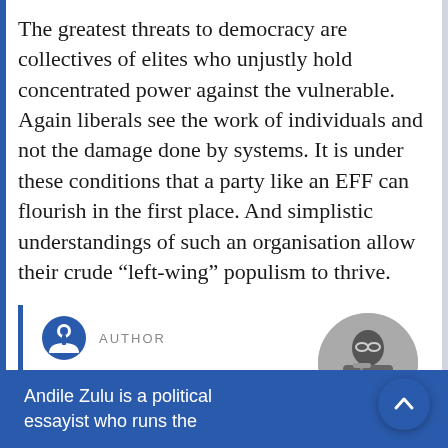The greatest threats to democracy are collectives of elites who unjustly hold concentrated power against the vulnerable. Again liberals see the work of individuals and not the damage done by systems. It is under these conditions that a party like an EFF can flourish in the first place. And simplistic understandings of such an organisation allow their crude “left-wing” populism to thrive.
[Figure (infographic): Author card with circular icon logo, AUTHOR label, author name ANDILE ZULU in bold blue, and a circular black-and-white photo of the author on the right.]
Andile Zulu is a political essayist who runs the